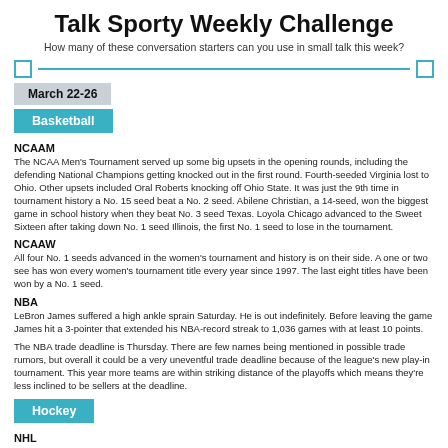Talk Sporty Weekly Challenge
How many of these conversation starters can you use in small talk this week?
March 22-26
Basketball
NCAAM
The NCAA Men's Tournament served up some big upsets in the opening rounds, including the defending National Champions getting knocked out in the first round. Fourth-seeded Virginia lost to Ohio. Other upsets included Oral Roberts knocking off Ohio State. It was just the 9th time in tournament history a No. 15 seed beat a No. 2 seed. Abilene Christian, a 14-seed, won the biggest game in school history when they beat No. 3 seed Texas. Loyola Chicago advanced to the Sweet Sixteen after taking down No. 1 seed Illinois, the first No. 1 seed to lose in the tournament.
NCAAW
All four No. 1 seeds advanced in the women's tournament and history is on their side. A one or two see has won every women's tournament title every year since 1997. The last eight titles have been won by a No. 1 seed.
NBA
LeBron James suffered a high ankle sprain Saturday. He is out indefinitely. Before leaving the game James hit a 3-pointer that extended his NBA-record streak to 1,036 games with at least 10 points.
The NBA trade deadline is Thursday. There are few names being mentioned in possible trade rumors, but overall it could be a very uneventful trade deadline because of the league's new play-in tournament. This year more teams are within striking distance of the playoffs which means they're less inclined to be sellers at the deadline.
Hockey
NHL
Tamp Bay goalie Andrei Vasilevskiy is eying a franchise-record for most consecutive wins. He tied the Lightning record with 11 on Saturday night. It's ninth-longest streak in league